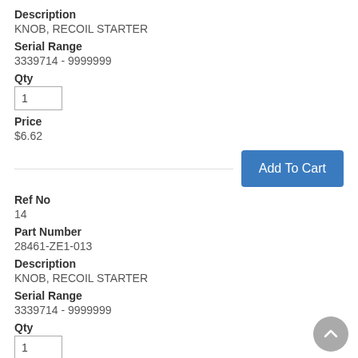Description
KNOB, RECOIL STARTER
Serial Range
3339714 - 9999999
Qty
1
Price
$6.62
Add To Cart
Ref No
14
Part Number
28461-ZE1-013
Description
KNOB, RECOIL STARTER
Serial Range
3339714 - 9999999
Qty
1